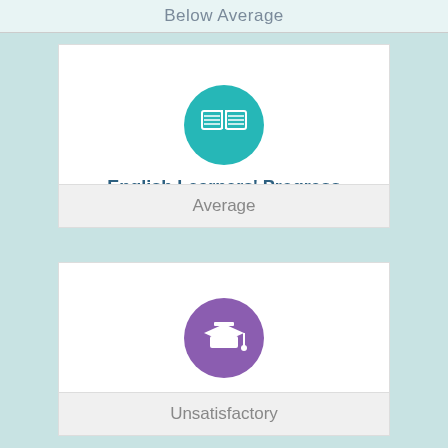Below Average
[Figure (illustration): Teal circle with open book icon representing English Learners Progress metric]
English Learners' Progress
Average
[Figure (illustration): Purple circle with graduation cap icon representing Graduation Rate metric]
Graduation Rate
Unsatisfactory